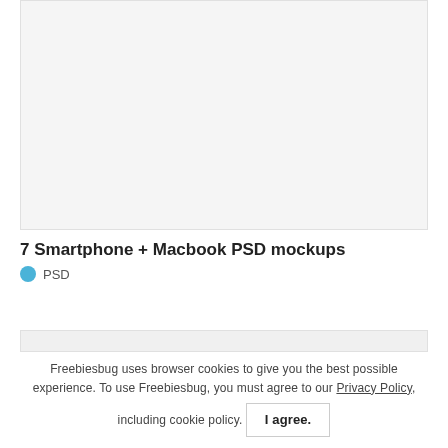[Figure (photo): Light grey placeholder image box for smartphone and Macbook PSD mockups preview]
7 Smartphone + Macbook PSD mockups
PSD
[Figure (other): Grey horizontal bar element]
Freebiesbug uses browser cookies to give you the best possible experience. To use Freebiesbug, you must agree to our Privacy Policy, including cookie policy. I agree.